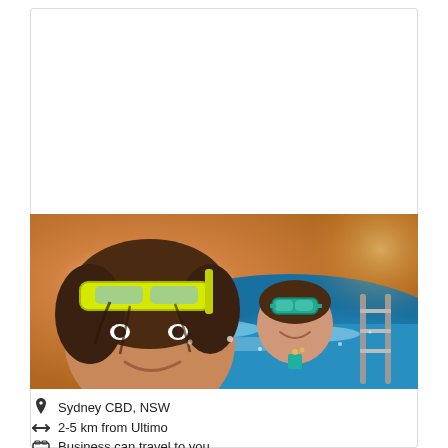[Figure (photo): Two children playing in a swimming pool. The child in the foreground has a yellow snorkel mask on their head and wet hair. A second child in the background wears teal goggles and smiles in the pool. Warm sunny lighting.]
Sydney CBD, NSW
2-5 km from Ultimo
Business can travel to you